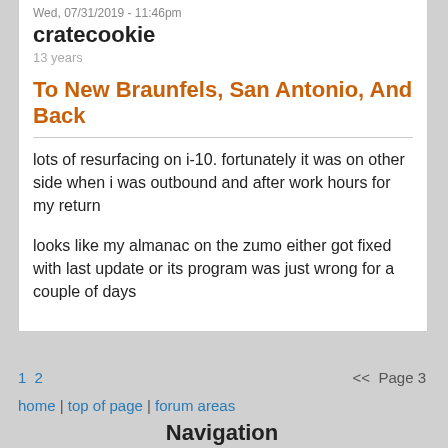Wed, 07/31/2019 - 11:46pm
cratecookie
13 years
To New Braunfels, San Antonio, And Back
lots of resurfacing on i-10. fortunately it was on other side when i was outbound and after work hours for my return
looks like my almanac on the zumo either got fixed with last update or its program was just wrong for a couple of days
1 2  <<  Page 3
home | top of page | forum areas
Navigation
recent posts
Active Forum Topics